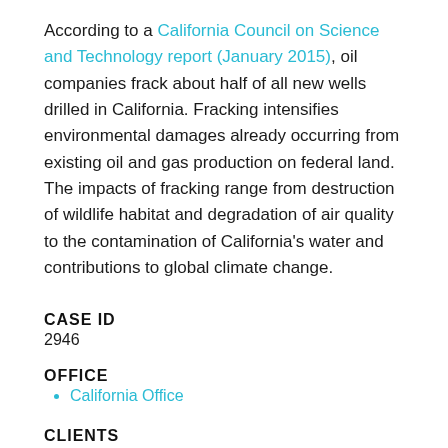According to a California Council on Science and Technology report (January 2015), oil companies frack about half of all new wells drilled in California. Fracking intensifies environmental damages already occurring from existing oil and gas production on federal land. The impacts of fracking range from destruction of wildlife habitat and degradation of air quality to the contamination of California's water and contributions to global climate change.
CASE ID
2946
OFFICE
California Office
CLIENTS